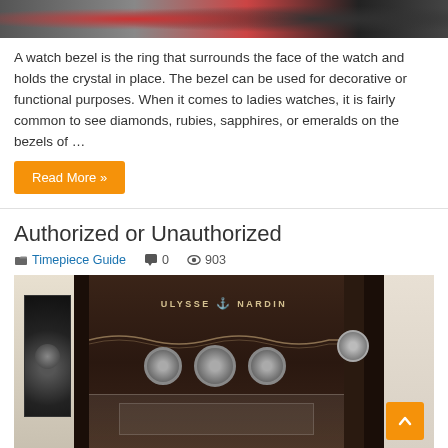[Figure (photo): Close-up photo of a colorful watch bezel with red and dark tones visible at the top of the page]
A watch bezel is the ring that surrounds the face of the watch and holds the crystal in place. The bezel can be used for decorative or functional purposes. When it comes to ladies watches, it is fairly common to see diamonds, rubies, sapphires, or emeralds on the bezels of …
Read More »
Authorized or Unauthorized
Timepiece Guide   0   903
[Figure (photo): Interior of a Ulysse Nardin luxury watch store with dark wood panels, illuminated watch displays, a glass showcase counter, and branded signage]